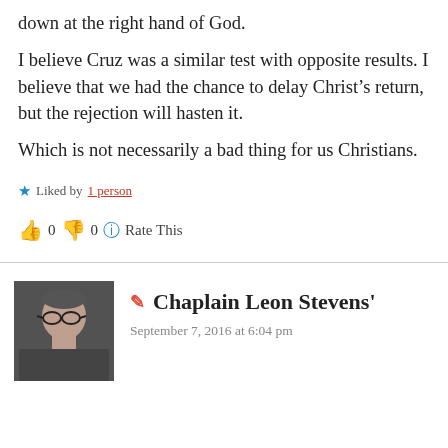down at the right hand of God.
I believe Cruz was a similar test with opposite results. I believe that we had the chance to delay Christ’s return, but the rejection will hasten it.
Which is not necessarily a bad thing for us Christians.
★ Liked by 1 person
👍 0 👎 0 ℹ Rate This
✒ Chaplain Leon Stevens'
September 7, 2016 at 6:04 pm